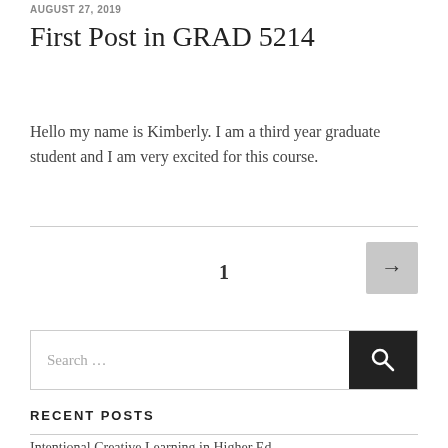AUGUST 27, 2019
First Post in GRAD 5214
Hello my name is Kimberly. I am a third year graduate student and I am very excited for this course.
1   →
RECENT POSTS
Intentional Creative Learning in Higher Ed